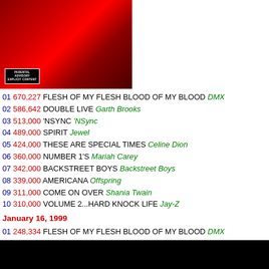[Figure (photo): Album cover art for DMX - Flesh of My Flesh Blood of My Blood with Parental Advisory sticker]
01 670,227 FLESH OF MY FLESH BLOOD OF MY BLOOD DMX
02 586,642 DOUBLE LIVE Garth Brooks
03 513,000 'NSYNC 'NSync
04 489,000 SPIRIT Jewel
05 424,000 THESE ARE SPECIAL TIMES Celine Dion
06 360,000 NUMBER 1'S Mariah Carey
07 342,000 BACKSTREET BOYS Backstreet Boys
08 339,000 AMERICANA Offspring
09 311,000 COME ON OVER Shania Twain
10 310,000 VOLUME 2...HARD KNOCK LIFE Jay-Z
January 16, 1999
01 248,334 FLESH OF MY FLESH BLOOD OF MY BLOOD DMX
02 174,000 AMERICANA Offspring
03 170,000 VOLUME 2...HARD KNOCK LIFE Jay-Z
04 162,000 NUMBER 1'S Mariah Carey
05 162,000 'NSYNC 'NSync
06 152,000 GREATEST HITS 2Pac
07 148,000 DOUBLE LIVE Garth Brooks
08 147,000 SPIRIT Jewel